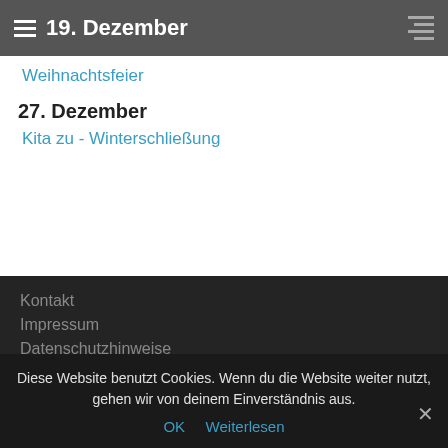19. Dezember
Weihnachtsfeier
27. Dezember
Kita zu - Winterschließung
Kontakt
Impressum
Datenschutzhinweise
Termine 21/22
11. September
Sommerfest
Diese Website benutzt Cookies. Wenn du die Website weiter nutzt, gehen wir von deinem Einverständnis aus.
OK   Weiterlesen